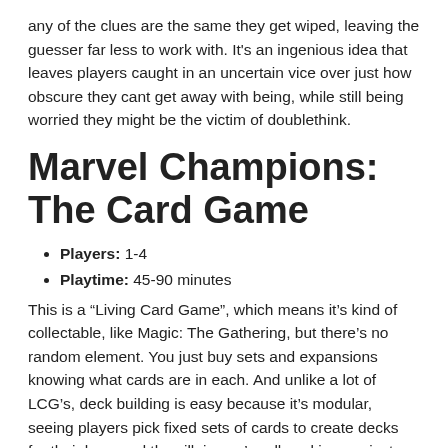any of the clues are the same they get wiped, leaving the guesser far less to work with. It's an ingenious idea that leaves players caught in an uncertain vice over just how obscure they cant get away with being, while still being worried they might be the victim of doublethink.
Marvel Champions: The Card Game
Players: 1-4
Playtime: 45-90 minutes
This is a “Living Card Game”, which means it’s kind of collectable, like Magic: The Gathering, but there’s no random element. You just buy sets and expansions knowing what cards are in each. And unlike a lot of LCG’s, deck building is easy because it’s modular, seeing players pick fixed sets of cards to create decks for their hero and the villain you’re all working against. The meat of play features